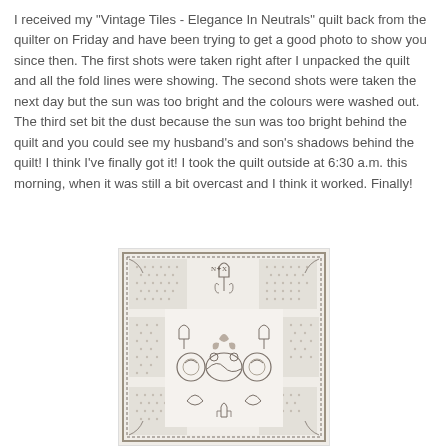I received my "Vintage Tiles - Elegance In Neutrals" quilt back from the quilter on Friday and have been trying to get a good photo to show you since then. The first shots were taken right after I unpacked the quilt and all the fold lines were showing. The second shots were taken the next day but the sun was too bright and the colours were washed out. The third set bit the dust because the sun was too bright behind the quilt and you could see my husband's and son's shadows behind the quilt! I think I've finally got it! I took the quilt outside at 6:30 a.m. this morning, when it was still a bit overcast and I think it worked. Finally!
[Figure (photo): A photo of the 'Vintage Tiles - Elegance In Neutrals' quilt showing intricate floral and geometric embroidered/appliqued designs in neutral grey and cream tones on a light background, with a decorative border.]